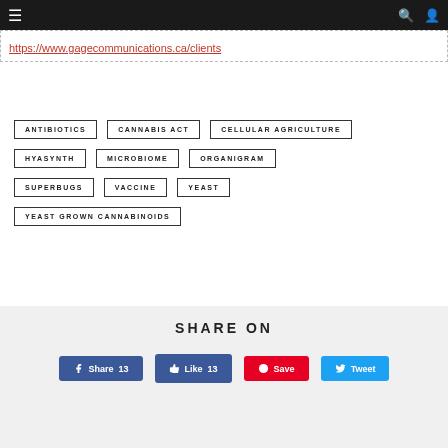Navigation bar with menu and search/user icons
https://www.gagecommunications.ca/clients
ANTIBIOTICS
CANNABIS ACT
CELLULAR AGRICULTURE
HYASYNTH
MICROBIOME
ORGANIGRAM
SUPERBUGS
VACCINE
YEAST
YEAST GROWN CANNABINOIDS
SHARE ON
Share 13 | Like 13 | Save | Tweet